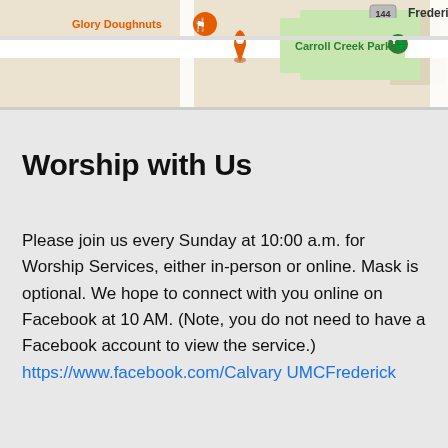[Figure (map): Google Maps screenshot showing Glory Doughnuts, Carroll Creek Park, and route 144 near Frederick, MD. Orange location pin visible.]
Worship with Us
Please join us every Sunday at 10:00 a.m. for Worship Services, either in-person or online. Mask is optional. We hope to connect with you online on Facebook at 10 AM. (Note, you do not need to have a Facebook account to view the service.) https://www.facebook.com/CalvaryUMCFrederick